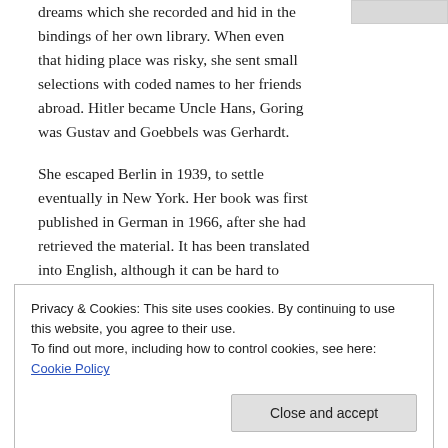dreams which she recorded and hid in the bindings of her own library. When even that hiding place was risky, she sent small selections with coded names to her friends abroad. Hitler became Uncle Hans, Goring was Gustav and Goebbels was Gerhardt.
She escaped Berlin in 1939, to settle eventually in New York. Her book was first published in German in 1966, after she had retrieved the material. It has been translated into English, although it can be hard to find. She organised the 75 dreams in the book into chapters to demonstrate that waking life and dreams are
Privacy & Cookies: This site uses cookies. By continuing to use this website, you agree to their use.
To find out more, including how to control cookies, see here: Cookie Policy
in 2019 describes her achievement.